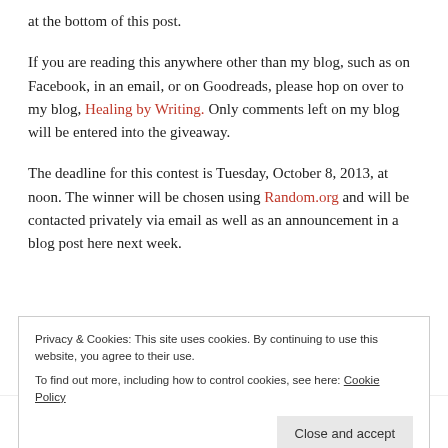at the bottom of this post.
If you are reading this anywhere other than my blog, such as on Facebook, in an email, or on Goodreads, please hop on over to my blog, Healing by Writing. Only comments left on my blog will be entered into the giveaway.
The deadline for this contest is Tuesday, October 8, 2013, at noon. The winner will be chosen using Random.org and will be contacted privately via email as well as an announcement in a blog post here next week.
Privacy & Cookies: This site uses cookies. By continuing to use this website, you agree to their use.
To find out more, including how to control cookies, see here: Cookie Policy
Close and accept
any aspect of your life story.